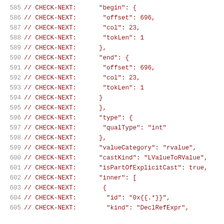585  // CHECK-NEXT:      "begin": {
586  // CHECK-NEXT:       "offset": 696,
587  // CHECK-NEXT:       "col": 23,
588  // CHECK-NEXT:       "tokLen": 1
589  // CHECK-NEXT:      },
590  // CHECK-NEXT:      "end": {
591  // CHECK-NEXT:       "offset": 696,
592  // CHECK-NEXT:       "col": 23,
593  // CHECK-NEXT:       "tokLen": 1
594  // CHECK-NEXT:      }
595  // CHECK-NEXT:      },
596  // CHECK-NEXT:      "type": {
597  // CHECK-NEXT:       "qualType": "int"
598  // CHECK-NEXT:      },
599  // CHECK-NEXT:      "valueCategory": "rvalue",
600  // CHECK-NEXT:      "castKind": "LValueToRValue",
601  // CHECK-NEXT:      "isPartOfExplicitCast": true,
602  // CHECK-NEXT:      "inner": [
603  // CHECK-NEXT:       {
604  // CHECK-NEXT:        "id": "0x{{.*}}",
605  // CHECK-NEXT:        "kind": "DeclRefExpr",